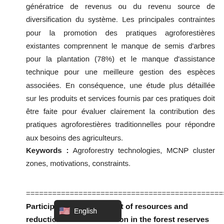génératrice de revenus ou du revenu source de diversification du système. Les principales contraintes pour la promotion des pratiques agroforestières existantes comprennent le manque de semis d'arbres pour la plantation (78%) et le manque d'assistance technique pour une meilleure gestion des espèces associées. En conséquence, une étude plus détaillée sur les produits et services fournis par ces pratiques doit être faite pour évaluer clairement la contribution des pratiques agroforestières traditionnelles pour répondre aux besoins des agriculteurs.
Keywords : Agroforestry technologies, MCNP cluster zones, motivations, constraints.
Participatory management of resources and reduction of [degradation] in the forest reserves of Zamay